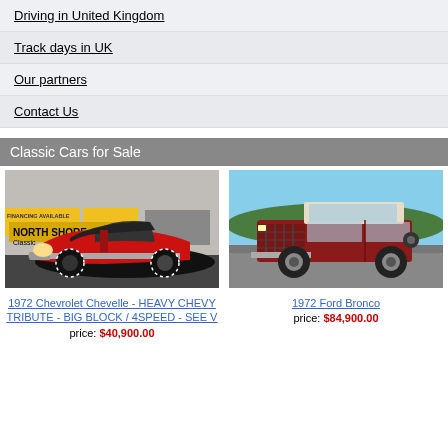Driving in United Kingdom
Track days in UK
Our partners
Contact Us
Classic Cars for Sale
[Figure (photo): 1972 Chevrolet Chevelle red muscle car parked in front of North Shore Classics dealership]
1972 Chevrolet Chevelle - HEAVY CHEVY TRIBUTE - BIG BLOCK / 4SPEED - SEE V
price: $40,900.00
[Figure (photo): 1972 Ford Bronco red SUV parked on a road with trees and fields in background]
1972 Ford Bronco
price: $84,900.00